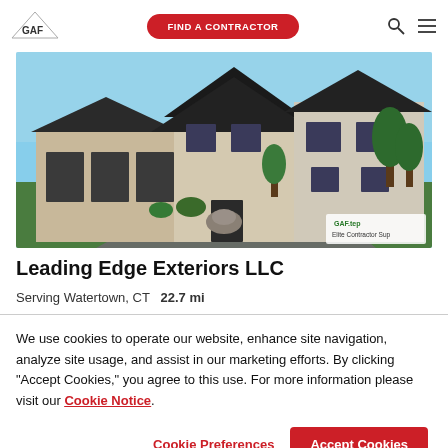GAF | FIND A CONTRACTOR
[Figure (photo): Exterior photo of a large luxury home with dark shingle roof, stone and stucco facade, three-car garage, and landscaped front yard. Badge in lower right reads 'Elite... sup']
Leading Edge Exteriors LLC
Serving Watertown, CT   22.7 mi
We use cookies to operate our website, enhance site navigation, analyze site usage, and assist in our marketing efforts. By clicking "Accept Cookies," you agree to this use. For more information please visit our Cookie Notice.
Cookie Preferences | Accept Cookies